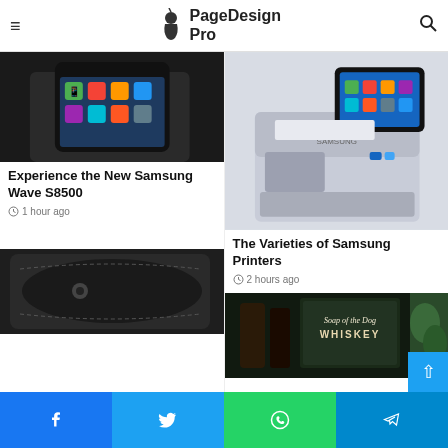PageDesign Pro
[Figure (photo): Hand holding a Samsung Wave S8500 smartphone showing app icons on screen]
Experience the New Samsung Wave S8500
1 hour ago
[Figure (photo): Samsung laser printer with touchscreen tablet display on top]
The Varieties of Samsung Printers
2 hours ago
[Figure (photo): Black leather phone wallet/case close-up]
[Figure (photo): Soap of the Dog Whiskey bottles on shelf]
Facebook | Twitter | WhatsApp | Telegram